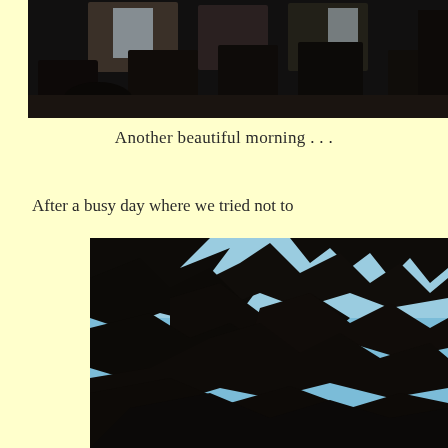[Figure (photo): Dark interior room photo showing silhouetted objects including pillows and picture frames on a surface against a bright window background]
Another beautiful morning . . .
After a busy day where we tried not to
[Figure (photo): Looking up through dark silhouetted tree branches with leaves against a blue sky]